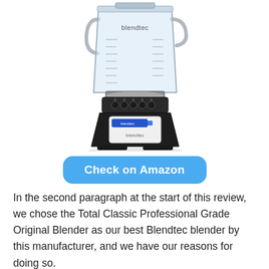[Figure (photo): A Blendtec Total Classic Professional Grade Original Blender with a clear pitcher showing measurement markings and the Blendtec logo, sitting on a black base with control buttons and a digital display panel.]
Check on Amazon
In the second paragraph at the start of this review, we chose the Total Classic Professional Grade Original Blender as our best Blendtec blender by this manufacturer, and we have our reasons for doing so.